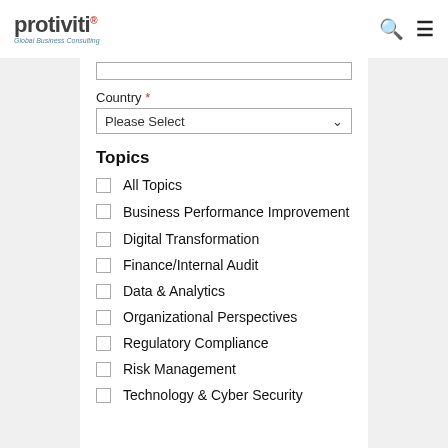protiviti® Global Business Consulting
Country *
Please Select
Topics
All Topics
Business Performance Improvement
Digital Transformation
Finance/Internal Audit
Data & Analytics
Organizational Perspectives
Regulatory Compliance
Risk Management
Technology & Cyber Security